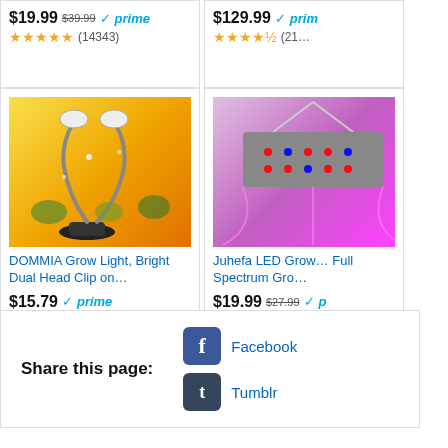[Figure (screenshot): Top-left product card showing price $19.99 (was $39.99) with Prime badge, 4.5 stars (14343 reviews) — partially cut off at top]
[Figure (screenshot): Top-right product card showing price $129.99 with Prime badge, 4.5 stars (211+ reviews) — partially cut off at top and right]
[Figure (photo): DOMMIA Grow Light dual head clip-on on orange/yellow background]
DOMMIA Grow Light, Bright Dual Head Clip on…
$15.79 prime (2481 reviews)
[Figure (photo): Juhefa LED Grow light on purple/pink background — partially cut off on right]
Juhefa LED Grow… Full Spectrum Gro…
$19.99 $27.99 prime (775 reviews)
Share this page: Facebook Tumblr